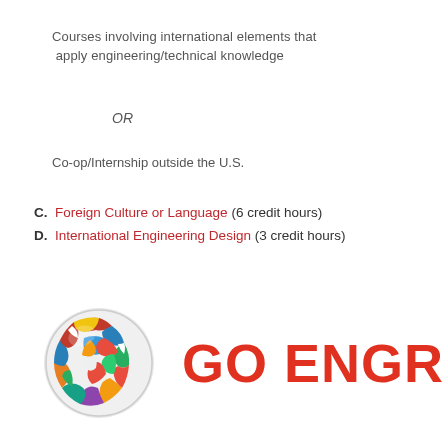Courses involving international elements that apply engineering/technical knowledge
OR
Co-op/Internship outside the U.S.
C. Foreign Culture or Language (6 credit hours)
D. International Engineering Design (3 credit hours)
[Figure (logo): Globe made of world flags with text GO ENGR in bold red to the right]